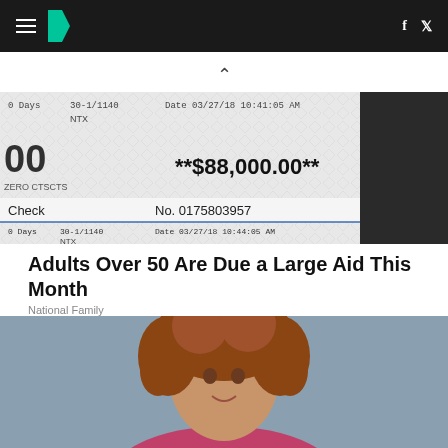HuffPost navigation with hamburger menu, logo, Facebook and Twitter icons
[Figure (photo): A check image showing **$88,000.00** with check number No. 0175803957, date 03/27/18 10:44:05 AM, with text showing 0 Days, 30-1/1140, NTX fields]
Adults Over 50 Are Due a Large Aid This Month
National Family
[Figure (photo): A woman with curly auburn hair, wearing a magenta top, smiling, photographed against a grey-blue background]